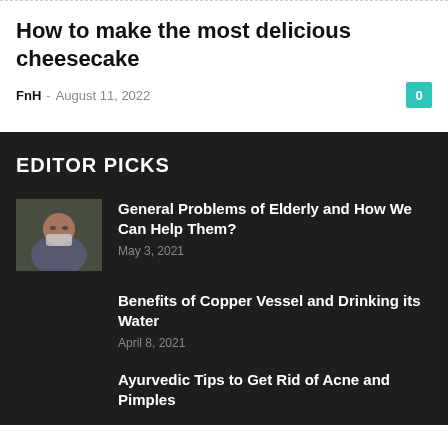How to make the most delicious cheesecake
FnH - August 11, 2022
EDITOR PICKS
[Figure (photo): Elderly person wearing a face mask outdoors]
General Problems of Elderly and How We Can Help Them?
May 3, 2021
Benefits of Copper Vessel and Drinking its Water
April 8, 2021
Ayurvedic Tips to Get Rid of Acne and Pimples